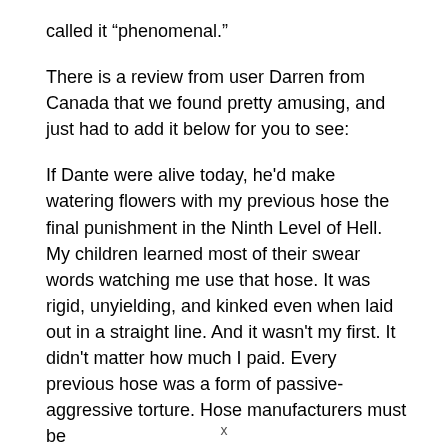called it “phenomenal.”
There is a review from user Darren from Canada that we found pretty amusing, and just had to add it below for you to see:
If Dante were alive today, he’d make watering flowers with my previous hose the final punishment in the Ninth Level of Hell. My children learned most of their swear words watching me use that hose. It was rigid, unyielding, and kinked even when laid out in a straight line. And it wasn’t my first. It didn’t matter how much I paid. Every previous hose was a form of passive-aggressive torture. Hose manufacturers must be
x